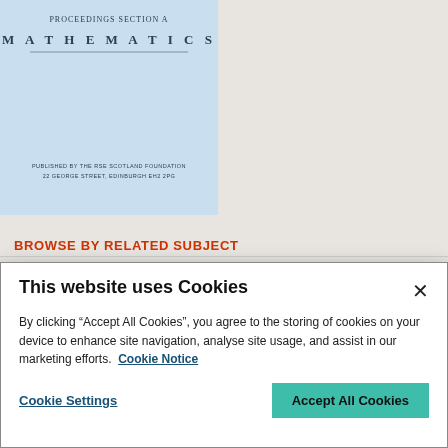[Figure (illustration): Partial journal cover image for Proceedings Section A Mathematics, published by The RSE Scotland Foundation, 22 George Street, Edinburgh EH2 2PG. Light blue background with title text.]
BROWSE BY RELATED SUBJECT
Abstract analysis
Algebra
Computational science
This website uses Cookies
By clicking “Accept All Cookies”, you agree to the storing of cookies on your device to enhance site navigation, analyse site usage, and assist in our marketing efforts.  Cookie Notice
Cookie Settings
Accept All Cookies